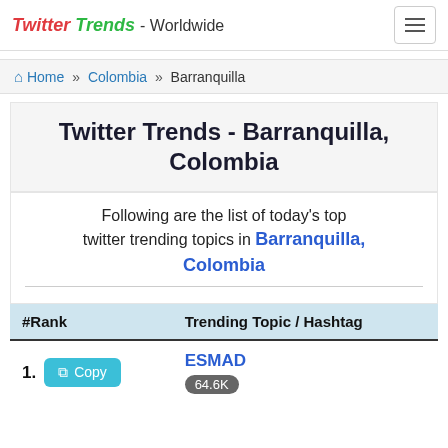Twitter Trends - Worldwide
Home » Colombia » Barranquilla
Twitter Trends - Barranquilla, Colombia
Following are the list of today's top twitter trending topics in Barranquilla, Colombia
| #Rank | Trending Topic / Hashtag |
| --- | --- |
| 1. | ESMAD
64.6K |